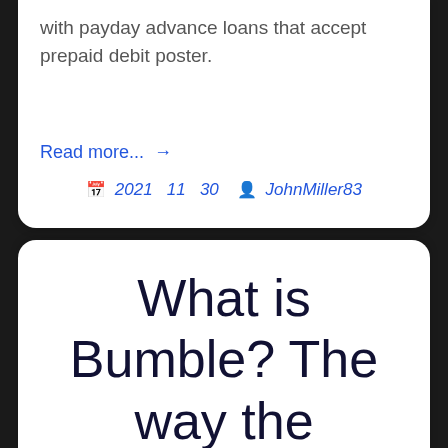with payday advance loans that accept prepaid debit poster.
Read more... →
2021  11  30    JohnMiller83
What is Bumble? The way the application that is dating through